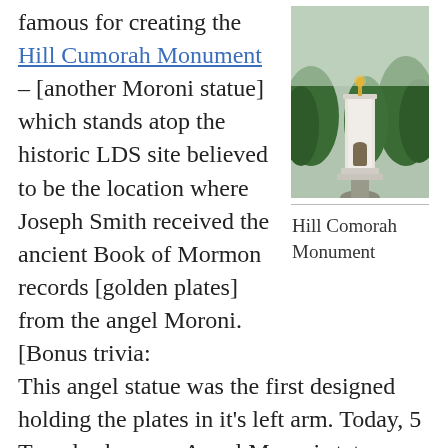famous for creating the Hill Cumorah Monument – [another Moroni statue] which stands atop the historic LDS site believed to be the location where Joseph Smith received the ancient Book of Mormon records [golden plates] from the angel Moroni. [Bonus trivia: This angel statue was the first designed holding the plates in it's left arm. Today, 5 Temples have an Angel Moroni statue depicted holding the gold plates in its left arm – Los Angeles California, Washington DC, Seattle Washington, Jordan River Utah and Mexico City] Located near Palmyra New
[Figure (photo): Photo of the Hill Cumorah Monument, a tall white stone pillar topped with a golden angel statue, surrounded by trees.]
Hill Comorah Monument